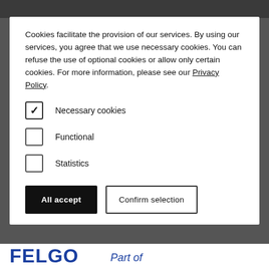Cookies facilitate the provision of our services. By using our services, you agree that we use necessary cookies. You can refuse the use of optional cookies or allow only certain cookies. For more information, please see our Privacy Policy.
☑ Necessary cookies
☐ Functional
☐ Statistics
All accept | Confirm selection
[Figure (logo): FELGO / Part of logo at bottom of page]